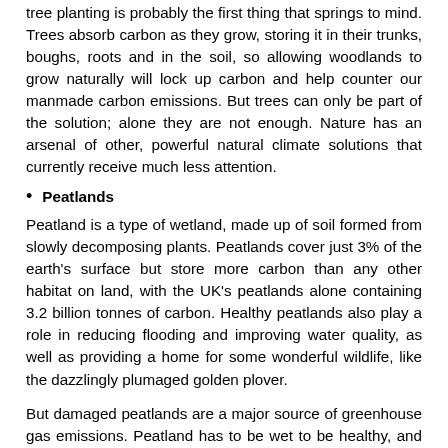tree planting is probably the first thing that springs to mind. Trees absorb carbon as they grow, storing it in their trunks, boughs, roots and in the soil, so allowing woodlands to grow naturally will lock up carbon and help counter our manmade carbon emissions. But trees can only be part of the solution; alone they are not enough. Nature has an arsenal of other, powerful natural climate solutions that currently receive much less attention.
Peatlands
Peatland is a type of wetland, made up of soil formed from slowly decomposing plants. Peatlands cover just 3% of the earth's surface but store more carbon than any other habitat on land, with the UK's peatlands alone containing 3.2 billion tonnes of carbon. Healthy peatlands also play a role in reducing flooding and improving water quality, as well as providing a home for some wonderful wildlife, like the dazzlingly plumaged golden plover.
But damaged peatlands are a major source of greenhouse gas emissions. Peatland has to be wet to be healthy, and much of our peatland has been drained. At least 80% of the UK's peatlands have been damaged in some way, at a cost of...